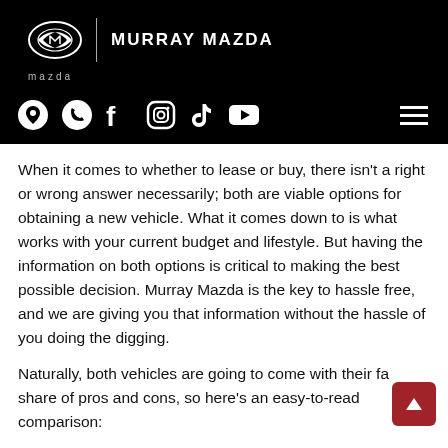MURRAY MAZDA
[Figure (logo): Murray Mazda logo with Mazda wing emblem and dealership name, with social media icons navigation bar (location, phone, Facebook, Instagram, TikTok, YouTube) and hamburger menu on black background]
When it comes to whether to lease or buy, there isn't a right or wrong answer necessarily; both are viable options for obtaining a new vehicle. What it comes down to is what works with your current budget and lifestyle. But having the information on both options is critical to making the best possible decision. Murray Mazda is the key to hassle free, and we are giving you that information without the hassle of you doing the digging.
Naturally, both vehicles are going to come with their fair share of pros and cons, so here's an easy-to-read comparison: